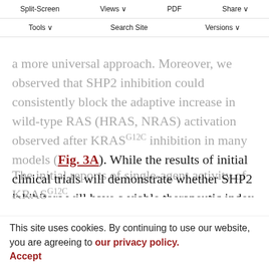Split-Screen | Views | PDF | Share | Tools | Search Site | Versions
a more universal approach. Moreover, we observed that SHP2 inhibition could consistently block the adaptive increase in wild-type RAS (HRAS, NRAS) activation observed after KRAS^G12C inhibition in many models (Fig. 3A). While the results of initial clinical trials will demonstrate whether SHP2 inhibitors will have a viable therapeutic index in patients, these data suggest that SHP2 inhibitors, either alone or perhaps in combination with specific RTK inhibitors or downstream inhibitors of the RAS–MAPK pathway, could be promising therapeutic strategies for future clinical trials.
The initial reports of single-agent activity of KRAS^G12C
This site uses cookies. By continuing to use our website, you are agreeing to our privacy policy. Accept